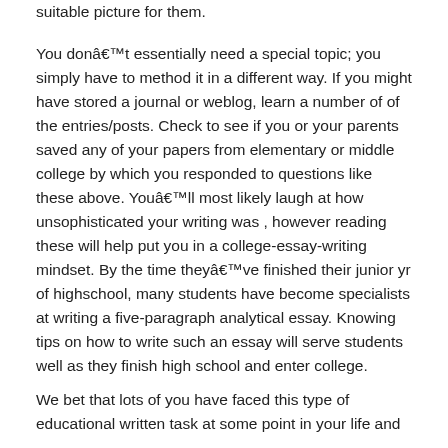suitable picture for them.
You donât essentially need a special topic; you simply have to method it in a different way. If you might have stored a journal or weblog, learn a number of of the entries/posts. Check to see if you or your parents saved any of your papers from elementary or middle college by which you responded to questions like these above. Youâll most likely laugh at how unsophisticated your writing was , however reading these will help put you in a college-essay-writing mindset. By the time theyâve finished their junior yr of highschool, many students have become specialists at writing a five-paragraph analytical essay. Knowing tips on how to write such an essay will serve students well as they finish high school and enter college.
We bet that lots of you have faced this type of educational written task at some point in your life and